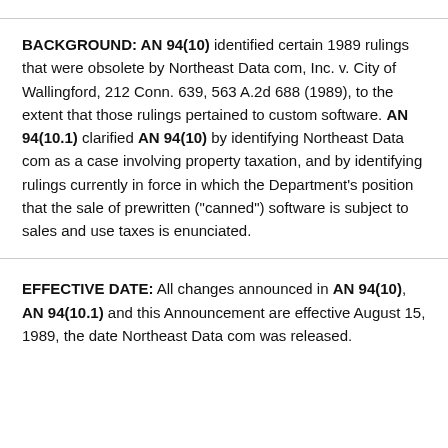BACKGROUND: AN 94(10) identified certain 1989 rulings that were obsolete by Northeast Data com, Inc. v. City of Wallingford, 212 Conn. 639, 563 A.2d 688 (1989), to the extent that those rulings pertained to custom software. AN 94(10.1) clarified AN 94(10) by identifying Northeast Data com as a case involving property taxation, and by identifying rulings currently in force in which the Department's position that the sale of prewritten ("canned") software is subject to sales and use taxes is enunciated.
EFFECTIVE DATE: All changes announced in AN 94(10), AN 94(10.1) and this Announcement are effective August 15, 1989, the date Northeast Data com was released.